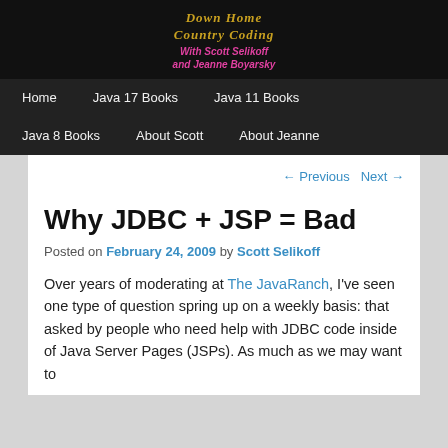Down Home Country Coding with Scott Selikoff and Jeanne Boyarsky
Home | Java 17 Books | Java 11 Books | Java 8 Books | About Scott | About Jeanne
← Previous   Next →
Why JDBC + JSP = Bad
Posted on February 24, 2009 by Scott Selikoff
Over years of moderating at The JavaRanch, I've seen one type of question spring up on a weekly basis: that asked by people who need help with JDBC code inside of Java Server Pages (JSPs). As much as we may want to